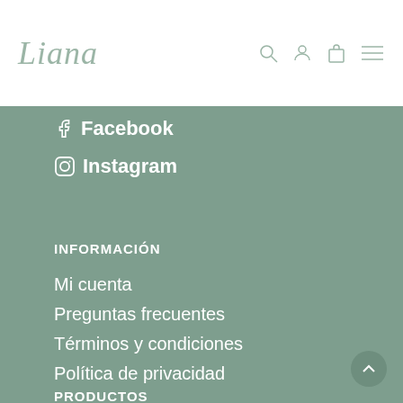Liana
Facebook
Instagram
INFORMACIÓN
Mi cuenta
Preguntas frecuentes
Términos y condiciones
Política de privacidad
PRODUCTOS